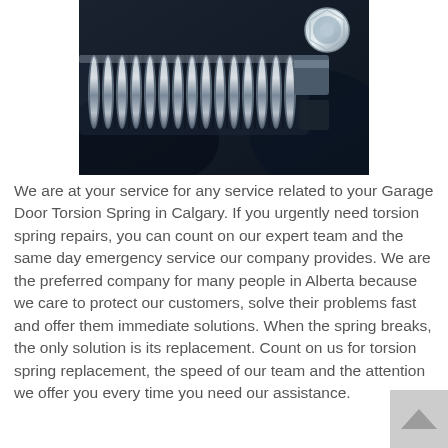[Figure (photo): Close-up photograph of a metal garage door torsion spring coil, silver/chrome colored, on a dark background with a bolt visible on the right side.]
We are at your service for any service related to your Garage Door Torsion Spring in Calgary. If you urgently need torsion spring repairs, you can count on our expert team and the same day emergency service our company provides. We are the preferred company for many people in Alberta because we care to protect our customers, solve their problems fast and offer them immediate solutions. When the spring breaks, the only solution is its replacement. Count on us for torsion spring replacement, the speed of our team and the attention we offer you every time you need our assistance.